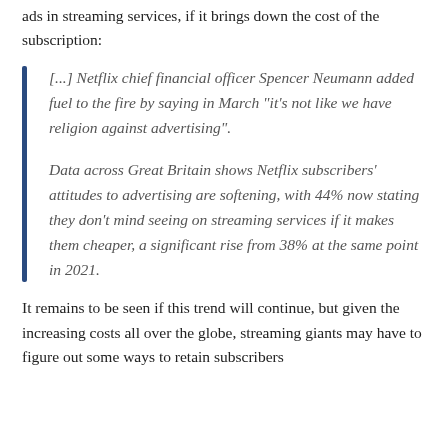ads in streaming services, if it brings down the cost of the subscription:
[...] Netflix chief financial officer Spencer Neumann added fuel to the fire by saying in March "it's not like we have religion against advertising".
Data across Great Britain shows Netflix subscribers' attitudes to advertising are softening, with 44% now stating they don't mind seeing on streaming services if it makes them cheaper, a significant rise from 38% at the same point in 2021.
It remains to be seen if this trend will continue, but given the increasing costs all over the globe, streaming giants may have to figure out some ways to retain subscribers